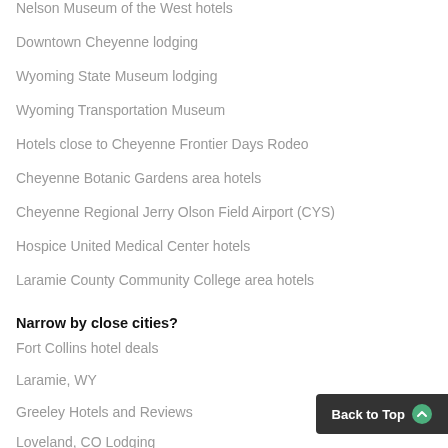Nelson Museum of the West hotels
Downtown Cheyenne lodging
Wyoming State Museum lodging
Wyoming Transportation Museum
Hotels close to Cheyenne Frontier Days Rodeo
Cheyenne Botanic Gardens area hotels
Cheyenne Regional Jerry Olson Field Airport (CYS)
Hospice United Medical Center hotels
Laramie County Community College area hotels
Narrow by close cities?
Fort Collins hotel deals
Laramie, WY
Greeley Hotels and Reviews
Loveland, CO Lodging